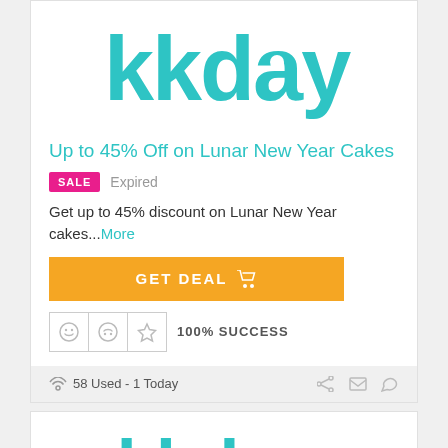[Figure (logo): KKday logo in teal/cyan color]
Up to 45% Off on Lunar New Year Cakes
SALE  Expired
Get up to 45% discount on Lunar New Year cakes...More
GET DEAL
100% SUCCESS
58 Used - 1 Today
[Figure (logo): KKday logo in teal/cyan color, second instance]